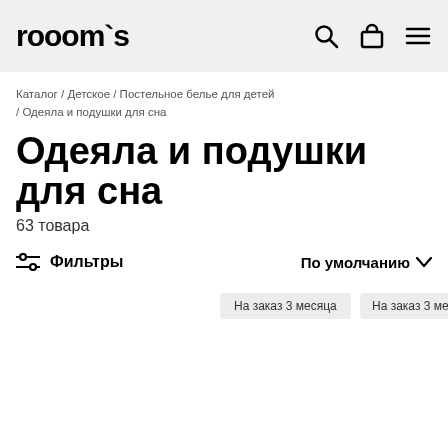rooom`s
Каталог / Детское / Постельное белье для детей / Одеяла и подушки для сна
Одеяла и подушки для сна
63 товара
Фильтры   По умолчанию
На заказ 3 месяца
На заказ 3 месяца